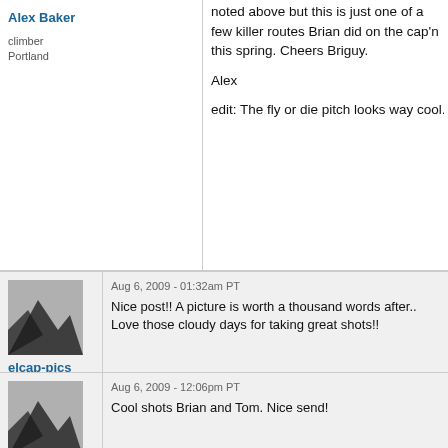noted above but this is just one of a few killer routes Brian did on the cap'n this spring. Cheers Briguy.
Alex
edit: The fly or die pitch looks way cool. The inverted wave thing and the color of the rock up and right. wo
elcap-pics
climber
Crestline CA
Aug 6, 2009 - 01:32am PT
Nice post!! A picture is worth a thousand words after.. Love those cloudy days for taking great shots!!
Morgan
Trad climber
East Coast
Aug 6, 2009 - 12:06pm PT
Cool shots Brian and Tom. Nice send!
PhotogEC
Aug 6, 2009 - 03:10pm PT
Bump for a kicka$$ photo TR.
Really nice mix of shots from Tom Evans and on the